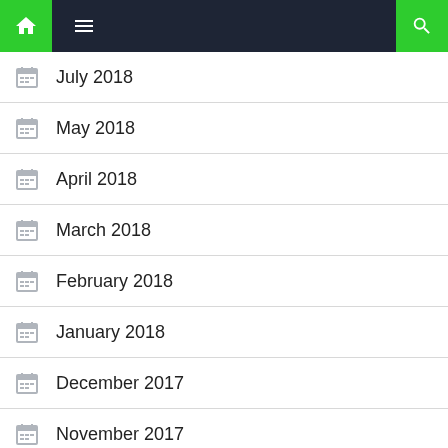Navigation bar with home, menu, and search
July 2018
May 2018
April 2018
March 2018
February 2018
January 2018
December 2017
November 2017
September 2017
August 2017